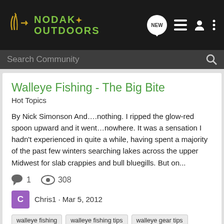NoDak Outdoors
Search Community
Walleye Fishing - The Big Bite
Hot Topics
By Nick Simonson And&#8230;.nothing. I ripped the glow-red spoon upward and it went&#8230;nowhere. It was a sensation I hadn't experienced in quite a while, having spent a majority of the past few winters searching lakes across the upper Midwest for slab crappies and bull bluegills. But on...
1   308
Chris1 · Mar 5, 2012
walleye fishing   walleye fishing tips   walleye gear tips   walleye ice fishing tips